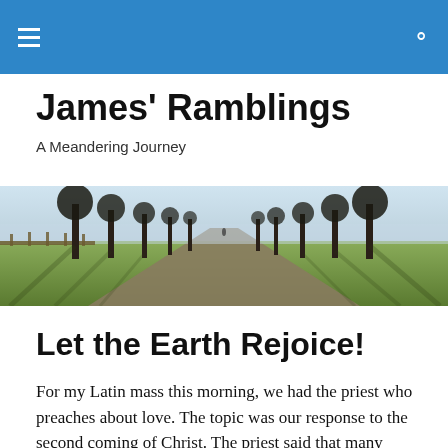≡  🔍
James' Ramblings
A Meandering Journey
[Figure (photo): A tree-lined path or avenue photographed in autumn/winter light, with a wooden fence on the left, tall bare trees on both sides casting long shadows on the grass, and a narrow road receding into the misty background with a lone figure visible in the distance.]
Let the Earth Rejoice!
For my Latin mass this morning, we had the priest who preaches about love. The topic was our response to the second coming of Christ. The priest said that many people fear the event, thinking it will be the end of the world. But